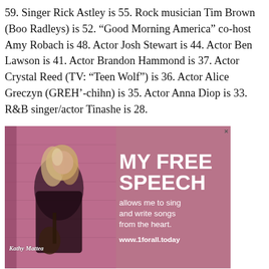59. Singer Rick Astley is 55. Rock musician Tim Brown (Boo Radleys) is 52. "Good Morning America" co-host Amy Robach is 48. Actor Josh Stewart is 44. Actor Ben Lawson is 41. Actor Brandon Hammond is 37. Actor Crystal Reed (TV: "Teen Wolf") is 36. Actor Alice Greczyn (GREH'-chihn) is 35. Actor Anna Diop is 33. R&B singer/actor Tinashe is 28.
[Figure (photo): Advertisement featuring Kathy Mattea, a woman with blonde hair holding a guitar, against a pink-tinted background. Text reads: MY FREE SPEECH allows me to sing and write songs from the heart. www.1forall.today]